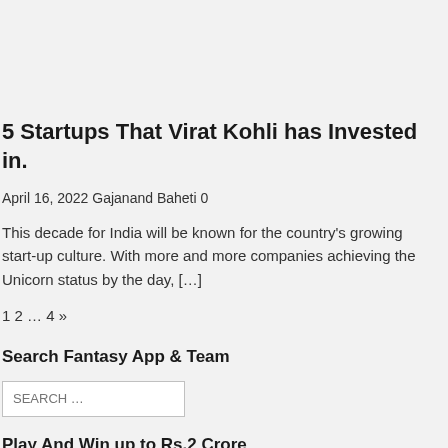5 Startups That Virat Kohli has Invested in.
April 16, 2022 Gajanand Baheti 0
This decade for India will be known for the country's growing start-up culture. With more and more companies achieving the Unicorn status by the day, […]
1 2 … 4 »
Search Fantasy App & Team
SEARCH …
Play And Win up to Rs.2 Crore